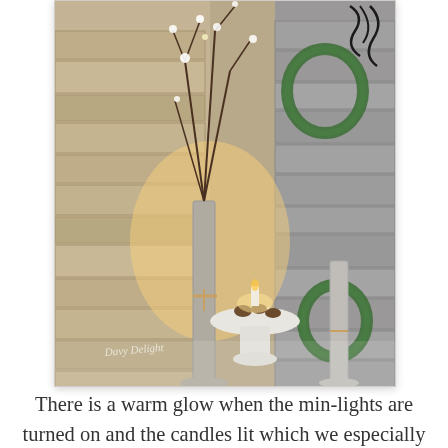[Figure (photo): Interior/porch decorating photo showing a stone wall backdrop with tall vases containing lit branches with white flowers tied with twine, candles in a white pedestal bowl, green wreaths, and warm glowing min-lights. A watermark reads 'Davy Delight' in the lower left.]
There is a warm glow when the min-lights are turned on and the candles lit which we especially enjoy in the evenings.